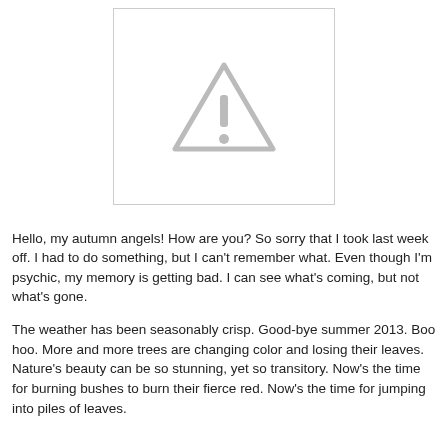[Figure (other): A gray warning/alert triangle icon with an exclamation mark, displayed inside a white bordered rectangle placeholder image box.]
Hello, my autumn angels!  How are you?  So sorry that I took last week off.  I had to do something, but I can't remember what.  Even though I'm psychic, my memory is getting bad.  I can see what's coming, but not what's gone.
The weather has been seasonably crisp.  Good-bye summer 2013.  Boo hoo.  More and more trees are changing color and losing their leaves.  Nature's beauty can be so stunning, yet so transitory.  Now's the time for burning bushes to burn their fierce red.  Now's the time for jumping into piles of leaves.